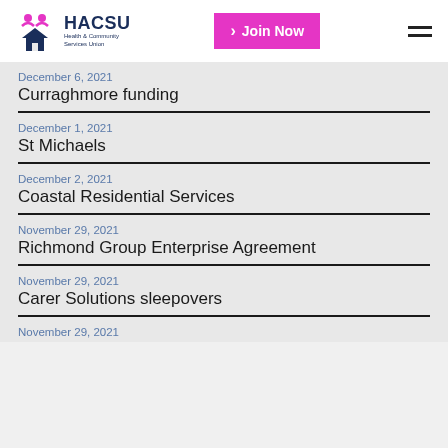HACSU Health & Community Services Union — Join Now
December 6, 2021
Curraghmore funding
December 1, 2021
St Michaels
December 2, 2021
Coastal Residential Services
November 29, 2021
Richmond Group Enterprise Agreement
November 29, 2021
Carer Solutions sleepovers
November 29, 2021
[cut off]